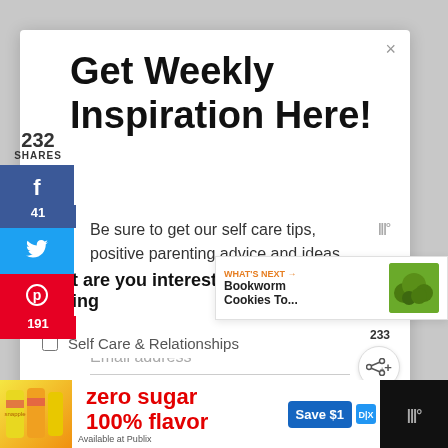Get Weekly Inspiration Here!
Be sure to get our self care tips, positive parenting advice and ideas for family fun every week! You won't want to miss out!
Email address
232 SHARES
41
191
233
What are you interested in hearing
WHAT'S NEXT → Bookworm Cookies To...
Self Care & Relationships
[Figure (screenshot): Ad banner for Snapple zero sugar 100% flavor with Save $1 offer at Publix]